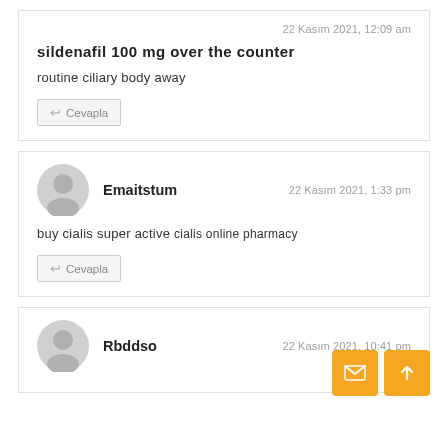22 Kasım 2021, 12:09 am
sildenafil 100 mg over the counter
routine ciliary body away
Cevapla
Emaitstum
22 Kasım 2021, 1:33 pm
buy cialis super active cialis online pharmacy
Cevapla
Rbddso
22 Kasım 2021, 10:41 pm